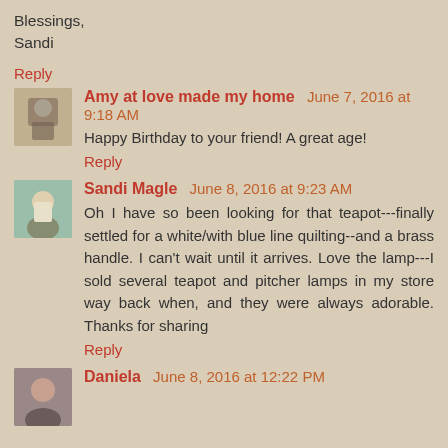Blessings,
Sandi
Reply
Amy at love made my home  June 7, 2016 at 9:18 AM
Happy Birthday to your friend! A great age!
Reply
Sandi Magle  June 8, 2016 at 9:23 AM
Oh I have so been looking for that teapot---finally settled for a white/with blue line quilting--and a brass handle. I can't wait until it arrives. Love the lamp---I sold several teapot and pitcher lamps in my store way back when, and they were always adorable. Thanks for sharing
Reply
Daniela  June 8, 2016 at 12:22 PM